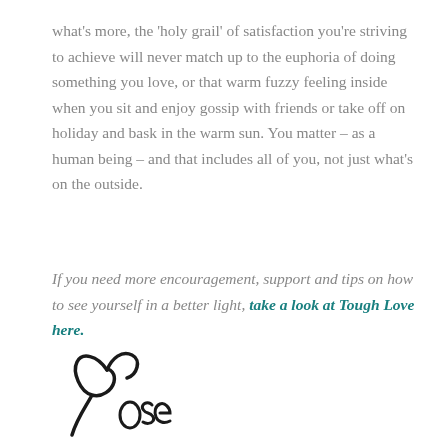what's more, the 'holy grail' of satisfaction you're striving to achieve will never match up to the euphoria of doing something you love, or that warm fuzzy feeling inside when you sit and enjoy gossip with friends or take off on holiday and bask in the warm sun. You matter – as a human being – and that includes all of you, not just what's on the outside.
If you need more encouragement, support and tips on how to see yourself in a better light, take a look at Tough Love here.
[Figure (illustration): A handwritten cursive signature reading 'Rose' in black ink, partially cropped at the bottom of the page.]